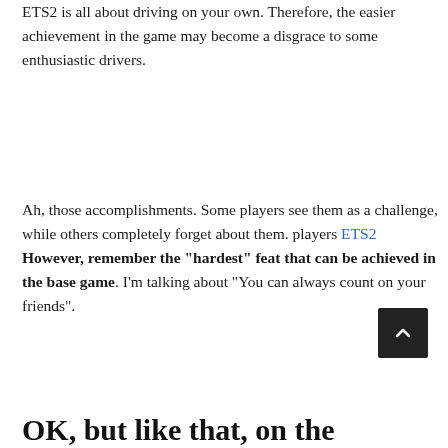ETS2 is all about driving on your own. Therefore, the easier achievement in the game may become a disgrace to some enthusiastic drivers.
Ah, those accomplishments. Some players see them as a challenge, while others completely forget about them. players ETS2 However, remember the "hardest" feat that can be achieved in the base game. I'm talking about "You can always count on your friends".
OK, but like that, on the